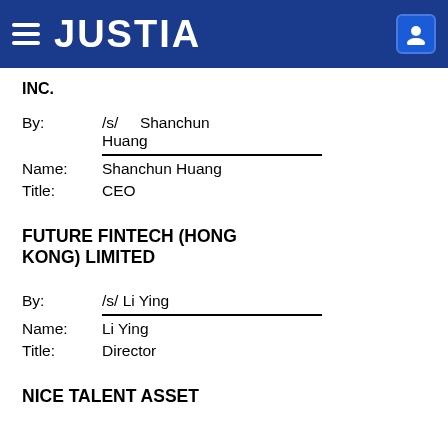JUSTIA
INC.
By: /s/ Shanchun Huang
Name: Shanchun Huang
Title: CEO
FUTURE FINTECH (HONG KONG) LIMITED
By: /s/ Li Ying
Name: Li Ying
Title: Director
NICE TALENT ASSET